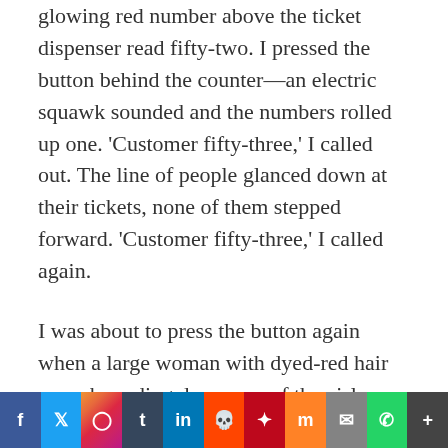glowing red number above the ticket dispenser read fifty-two. I pressed the button behind the counter—an electric squawk sounded and the numbers rolled up one. 'Customer fifty-three,' I called out. The line of people glanced down at their tickets, none of them stepped forward. 'Customer fifty-three,' I called again.
I was about to press the button again when a large woman with dyed-red hair came bounding down one of the aisles, waving her hand in the air and shouting 'I'm fifty-three. I'm fifty-three.'
Social share bar: Facebook, Twitter, Instagram, Tumblr, LinkedIn, Reddit, Pinterest, Mix, Mail, WhatsApp, More